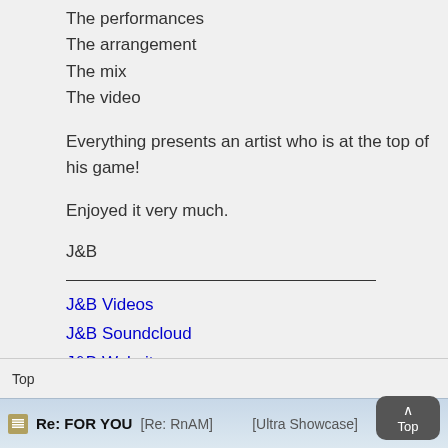The performances
The arrangement
The mix
The video
Everything presents an artist who is at the top of his game!
Enjoyed it very much.
J&B
J&B Videos
J&B Soundcloud
J&B Website
Top
Re: FOR YOU [Re: RnAM] [Ultra Showcase]